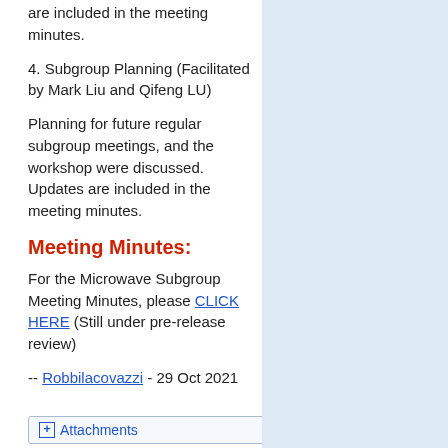are included in the meeting minutes.
4. Subgroup Planning (Facilitated by Mark Liu and Qifeng LU)
Planning for future regular subgroup meetings, and the workshop were discussed. Updates are included in the meeting minutes.
Meeting Minutes:
For the Microwave Subgroup Meeting Minutes, please CLICK HERE (Still under pre-release review)
-- Robbilacovazzi - 29 Oct 2021
+ Attachments